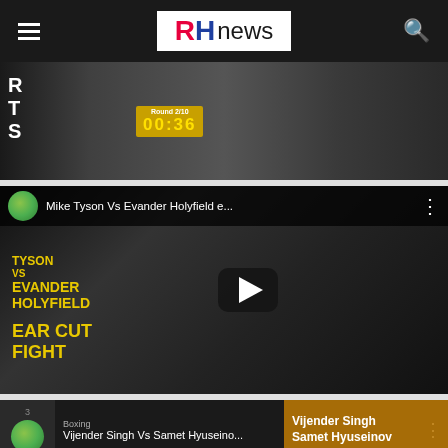[Figure (screenshot): RH news website header with hamburger menu, RH news logo in white box, and search icon on dark background]
[Figure (screenshot): Boxing video thumbnail showing fight scene with round timer showing Round 2/10, 00:36]
[Figure (screenshot): YouTube video thumbnail for Mike Tyson Vs Evander Holyfield ear cut fight, with yellow text overlay and play button]
[Figure (screenshot): YouTube video thumbnail for Vijender Singh Vs Samet Hyuseinov boxing match, with orange overlay showing fighter names]